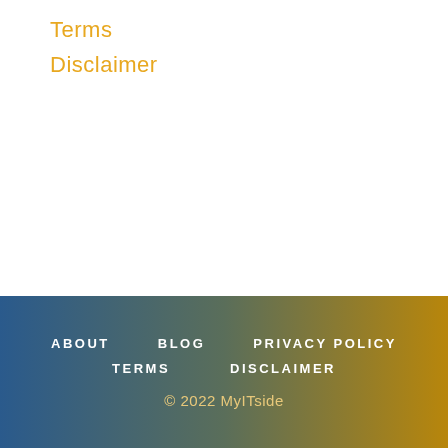Terms
Disclaimer
ABOUT   BLOG   PRIVACY POLICY   TERMS   DISCLAIMER   © 2022 MyITside